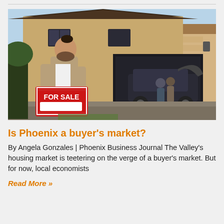[Figure (photo): A bearded man in a tan jacket placing a red 'FOR SALE' sign in front of a two-story brick house; in the background a family loads luggage into a dark SUV in a driveway.]
Is Phoenix a buyer's market?
By Angela Gonzales | Phoenix Business Journal The Valley's housing market is teetering on the verge of a buyer's market. But for now, local economists
Read More »